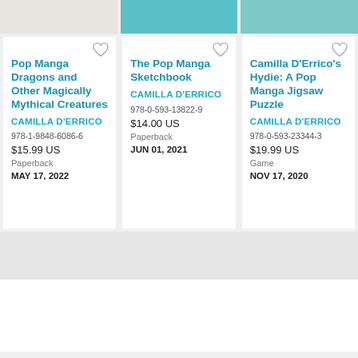[Figure (screenshot): Top strip showing partial book cover images for three books by Camilla D'Errico]
Pop Manga Dragons and Other Magically Mythical Creatures
CAMILLA D'ERRICO
978-1-9848-6086-6
$15.99 US
Paperback
MAY 17, 2022
The Pop Manga Sketchbook
CAMILLA D'ERRICO
978-0-593-13822-9
$14.00 US
Paperback
JUN 01, 2021
Camilla D'Errico's Hydie: A Pop Manga Jigsaw Puzzle
CAMILLA D'ERRICO
978-0-593-23344-3
$19.99 US
Game
NOV 17, 2020